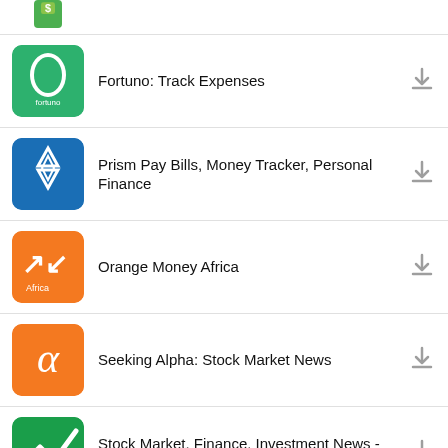[Figure (screenshot): App store listing showing finance apps: partial top app icon, Fortuno: Track Expenses, Prism Pay Bills Money Tracker Personal Finance, Orange Money Africa, Seeking Alpha: Stock Market News, Stock Market. Finance. Investment News - Stoxy, followed by Popular In Last 24 Hours section header and partial bottom app icon]
Fortuno: Track Expenses
Prism Pay Bills, Money Tracker, Personal Finance
Orange Money Africa
Seeking Alpha: Stock Market News
Stock Market. Finance. Investment News - Stoxy
Popular In Last 24 Hours